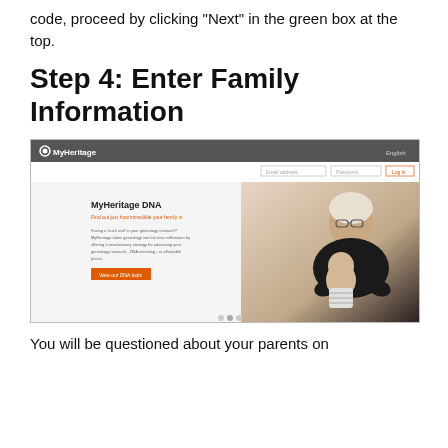code, proceed by clicking “Next” in the green box at the top.
Step 4: Enter Family Information
[Figure (screenshot): Screenshot of MyHeritage website homepage showing the MyHeritage DNA section with a login bar at top, DNA marketing content on the left, and a photo of an elderly person holding a young child on the right.]
You will be questioned about your parents on